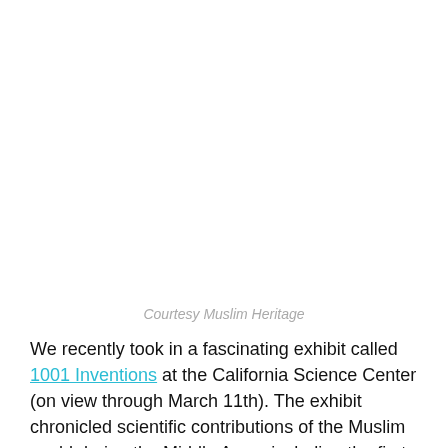Courtesy Muslim Heritage
We recently took in a fascinating exhibit called 1001 Inventions at the California Science Center (on view through March 11th). The exhibit chronicled scientific contributions of the Muslim world during the Middle Ages, including the first